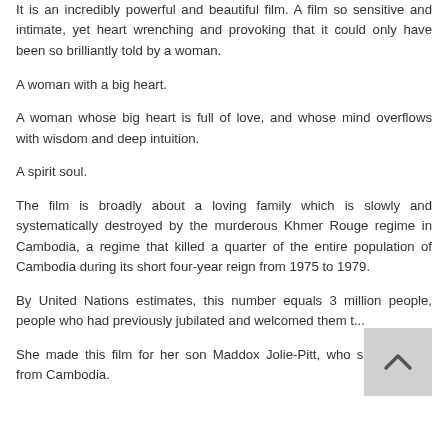It is an incredibly powerful and beautiful film. A film so sensitive and intimate, yet heart wrenching and provoking that it could only have been so brilliantly told by a woman.
A woman with a big heart.
A woman whose big heart is full of love, and whose mind overflows with wisdom and deep intuition.
A spirit soul.
The film is broadly about a loving family which is slowly and systematically destroyed by the murderous Khmer Rouge regime in Cambodia, a regime that killed a quarter of the entire population of Cambodia during its short four-year reign from 1975 to 1979.
By United Nations estimates, this number equals 3 million people, people who had previously jubilated and welcomed them t...
She made this film for her son Maddox Jolie-Pitt, who she adopted from Cambodia.